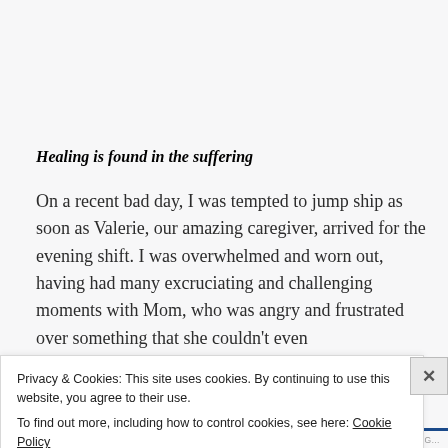Healing is found in the suffering
On a recent bad day, I was tempted to jump ship as soon as Valerie, our amazing caregiver, arrived for the evening shift. I was overwhelmed and worn out, having had many excruciating and challenging moments with Mom, who was angry and frustrated over something that she couldn't even
Privacy & Cookies: This site uses cookies. By continuing to use this website, you agree to their use.
To find out more, including how to control cookies, see here: Cookie Policy
Close and accept